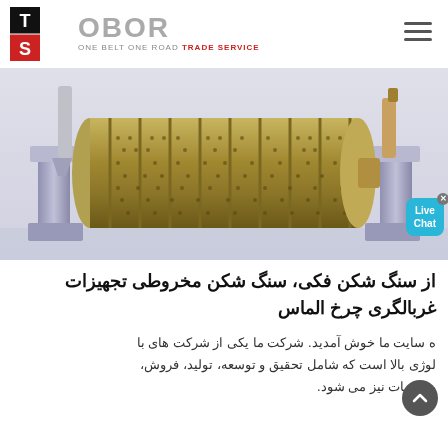[Figure (logo): OBOR Trade Service logo with TS mark in black and red, text OBOR ONE BELT ONE ROAD TRADE SERVICE]
[Figure (photo): Industrial cylindrical roller/drum machine (ball mill or rotary drum) with perforated surface, mounted on supports, shown in a 3D rendering]
از سنگ شکن فکی، سنگ شکن مخروطی تجهیزات غربالگری چرخ الماس
ه سایت ما خوش آمدید. شرکت ما یکی از شرکت های با لوژی بالا است که شامل تحقیق و توسعه، تولید، فروش و خدمات نیز می شود.